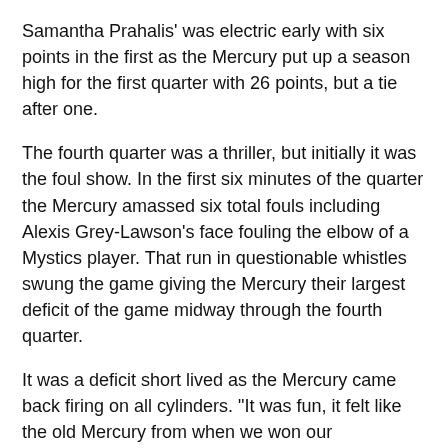Samantha Prahalis' was electric early with six points in the first as the Mercury put up a season high for the first quarter with 26 points, but a tie after one.
The fourth quarter was a thriller, but initially it was the foul show. In the first six minutes of the quarter the Mercury amassed six total fouls including Alexis Grey-Lawson's face fouling the elbow of a Mystics player. That run in questionable whistles swung the game giving the Mercury their largest deficit of the game midway through the fourth quarter.
It was a deficit short lived as the Mercury came back firing on all cylinders. "It was fun, it felt like the old Mercury from when we won our Championship and last year when got great wins," was how DeWanna Bonner described the final two minutes of the game.